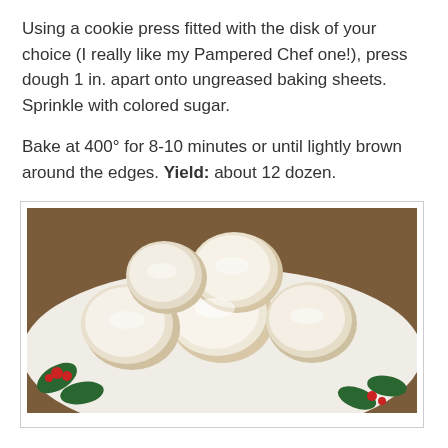Using a cookie press fitted with the disk of your choice (I really like my Pampered Chef one!), press dough 1 in. apart onto ungreased baking sheets. Sprinkle with colored sugar.
Bake at 400° for 8-10 minutes or until lightly brown around the edges. Yield: about 12 dozen.
[Figure (photo): Photo of powdered sugar-dusted round cookies on a Christmas-themed plate with holly and berries decoration.]
MEXICAN WEDDING CAKES
(This dough is a bit crumbly - press together to form cookies.)